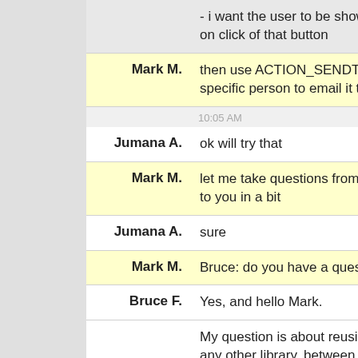- i want the user to be shown the gmail, yahoo options on click of that button
Mark M.: then use ACTION_SENDTO and a mailto: Uri of the specific person to email it to
10:05 AM
Jumana A.: ok will try that
Mark M.: let me take questions from others, and I will come back to you in a bit
Jumana A.: sure
Mark M.: Bruce: do you have a question?
Bruce F.: Yes, and hello Mark.
My question is about reusing ActionBarSherlock, or any other library, between workspaces. I'm just recompiling every time I start a